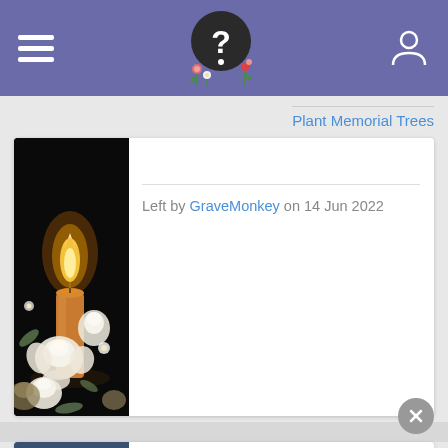Navigation header with hamburger menu, logo, and user icon
Plant Memorial Trees
[Figure (photo): A lit candle surrounded by white roses and flowers on a black background]
Left by GraveMonkey on 14 Jun 2022
[Figure (photo): Partially visible second memorial image, appears to show a blue bird or similar]